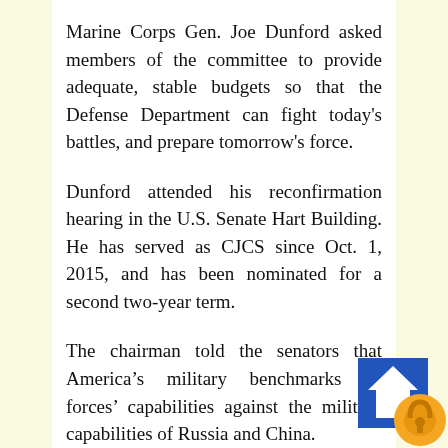Marine Corps Gen. Joe Dunford asked members of the committee to provide adequate, stable budgets so that the Defense Department can fight today's battles, and prepare tomorrow's force.
Dunford attended his reconfirmation hearing in the U.S. Senate Hart Building. He has served as CJCS since Oct. 1, 2015, and has been nominated for a second two-year term.
The chairman told the senators that America's military benchmarks its forces' capabilities against the military capabilities of Russia and China.
[Figure (logo): Partial logo icon in bottom-right corner: blue square background with white house/arrow shape and orange circular element.]